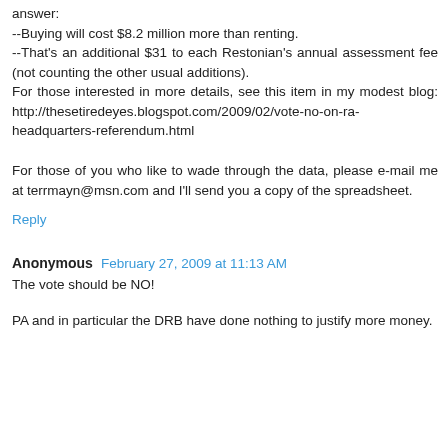answer:
--Buying will cost $8.2 million more than renting.
--That's an additional $31 to each Restonian's annual assessment fee (not counting the other usual additions).
For those interested in more details, see this item in my modest blog: http://thesetiredeyes.blogspot.com/2009/02/vote-no-on-ra-headquarters-referendum.html
For those of you who like to wade through the data, please e-mail me at terrmayn@msn.com and I'll send you a copy of the spreadsheet.
Reply
Anonymous  February 27, 2009 at 11:13 AM
The vote should be NO!
PA and in particular the DRB have done nothing to justify more money.